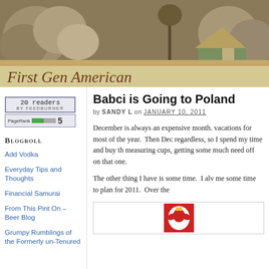[Figure (photo): Banner photo of rocky landscape with thatched hut/structure, earthy tones]
First Gen American
[Figure (screenshot): FeedBurner badge showing '20 readers' and PageRank 5 widget]
Blogroll
Add Vodka
Everyday Tips and Thoughts
Financial Samurai
From This Pint On – Beer Blog
Grumpy Rumblings of the Formerly un-Tenured
Babci is Going to Poland
by SANDY L on JANUARY 10, 2011
December is always an expensive month. vacations for most of the year.  Then Dec regardless, so I spend my time and buy th measuring cups, getting some much need off on that one.
The other thing I have is some time.  I alv me some time to plan for 2011.  Over the
[Figure (illustration): Polish coat of arms / emblem on red background]